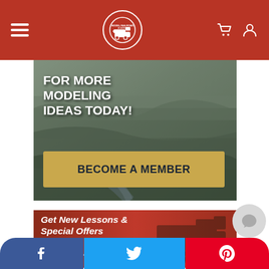Model Railroad Academy - Navigation bar with hamburger menu, logo, cart and user icons
[Figure (photo): Hero banner with rocky cliff background, white text 'FOR MORE MODELING IDEAS TODAY!' and a gold 'BECOME A MEMBER' button]
[Figure (photo): Promotional banner in red/orange with italic text 'Get New Lessons & Special Offers' and sub-text 'Sign Up For The Model Railroad' with a train engine background]
Social share bar: Facebook, Twitter, Pinterest